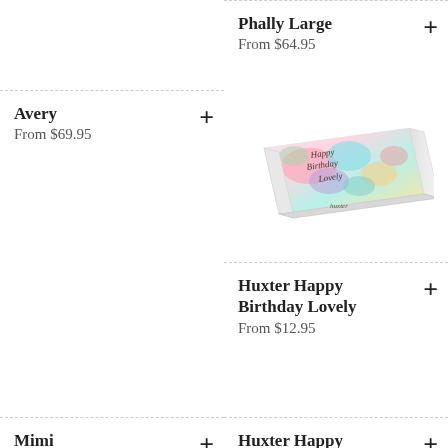Phally Large
From $64.95
Avery
From $69.95
[Figure (photo): Colorful box with watercolor floral design labeled 'Happy Birthday Lovely' by Huxter]
Huxter Happy Birthday Lovely
From $12.95
Mimi
Huxter Happy